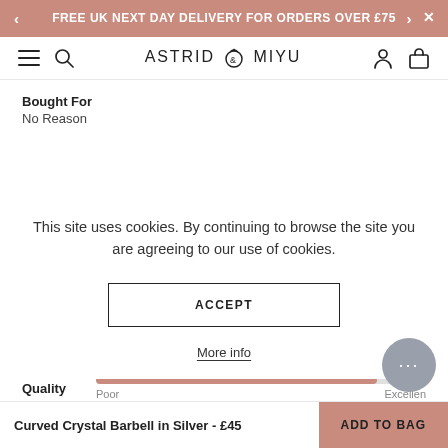FREE UK NEXT DAY DELIVERY FOR ORDERS OVER £75
[Figure (logo): Astrid & Miyu logo with navigation icons (hamburger menu, search, account, bag)]
Bought For
No Reason
This site uses cookies. By continuing to browse the site you are agreeing to our use of cookies.
ACCEPT
More info
Quality  Poor  Excellent
Curved Crystal Barbell in Silver - £45  ADD TO BAG